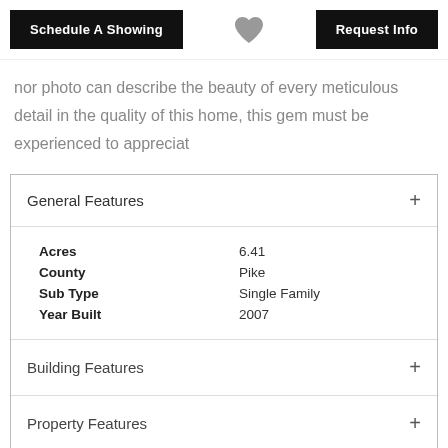Schedule A Showing | [heart] | Request Info
nor photo can describe the beauty of every meticulous detail in the quality of this home, this gem must be experienced to appreciat
General Features
| Field | Value |
| --- | --- |
| Acres | 6.41 |
| County | Pike |
| Sub Type | Single Family |
| Year Built | 2007 |
Building Features
Property Features